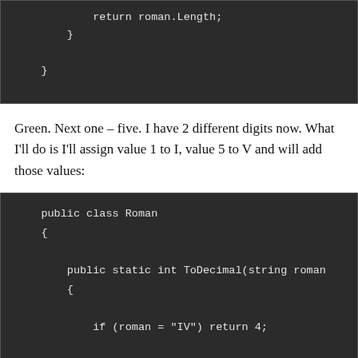[Figure (screenshot): Dark-themed code block showing end of a method: return roman.Length; followed by two closing braces]
Green. Next one – five. I have 2 different digits now. What I'll do is I'll assign value 1 to I, value 5 to V and will add those values:
[Figure (screenshot): Dark-themed code block showing start of Roman class with ToDecimal method, if (roman = "IV") return 4; and int result = 0;]